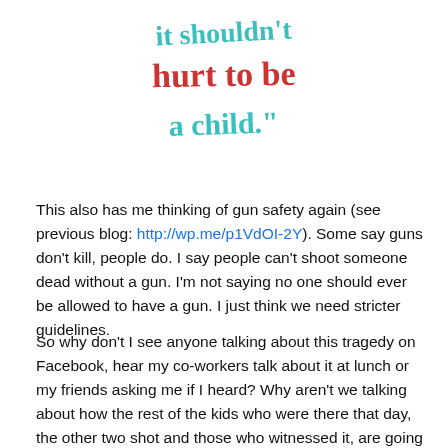[Figure (illustration): Handwritten text in colorful letters reading 'it shouldn't hurt to be a child.' with mixed colors (teal/green and red/pink)]
This also has me thinking of gun safety again (see previous blog: http://wp.me/p1VdOI-2Y). Some say guns don't kill, people do. I say people can't shoot someone dead without a gun. I'm not saying no one should ever be allowed to have a gun. I just think we need stricter guidelines.
So why don't I see anyone talking about this tragedy on Facebook, hear my co-workers talk about it at lunch or my friends asking me if I heard? Why aren't we talking about how the rest of the kids who were there that day, the other two shot and those who witnessed it, are going to deal with this for the rest of their lives? It truly seems like